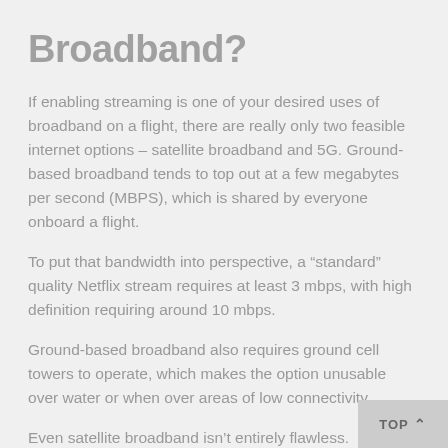Broadband?
If enabling streaming is one of your desired uses of broadband on a flight, there are really only two feasible internet options – satellite broadband and 5G. Ground-based broadband tends to top out at a few megabytes per second (MBPS), which is shared by everyone onboard a flight.
To put that bandwidth into perspective, a “standard” quality Netflix stream requires at least 3 mbps, with high definition requiring around 10 mbps.
Ground-based broadband also requires ground cell towers to operate, which makes the option unusable over water or when over areas of low connectivity.
Even satellite broadband isn’t entirely flawless. Maintaining interruption-free connectivity can be something… difficult. Most satellite broadband…